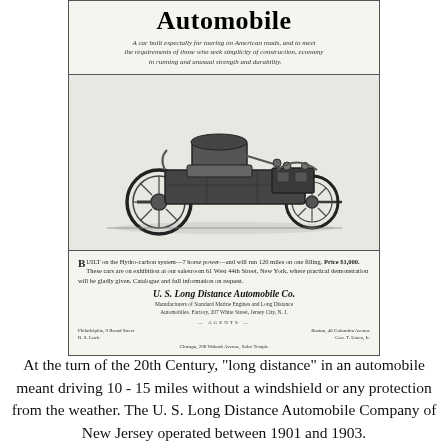[Figure (illustration): Vintage advertisement for U.S. Long Distance Automobile Co. featuring an early automobile illustration and advertising text about the vehicle built on Hydro-carbon system, 7 horse power, Price $1,000, showrooms at 61 West 44th Street, New York.]
At the turn of the 20th Century, "long distance" in an automobile meant driving 10 - 15 miles without a windshield or any protection from the weather. The U. S. Long Distance Automobile Company of New Jersey operated between 1901 and 1903.